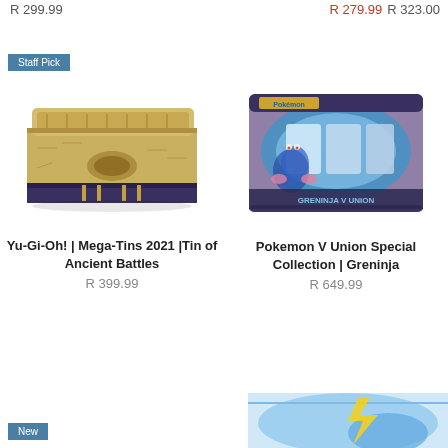R 299.99
R 279.99 R 323.00
Staff Pick
[Figure (photo): Yu-Gi-Oh Mega-Tins 2021 Tin of Ancient Battles product image — a golden decorative tin box with Egyptian hieroglyph-style artwork]
[Figure (photo): Pokemon V Union Special Collection Greninja product image — a blue and purple collectible card game box featuring Greninja artwork]
Yu-Gi-Oh! | Mega-Tins 2021 |Tin of Ancient Battles
R 399.99
Pokemon V Union Special Collection | Greninja
R 649.99
New
[Figure (photo): Partial view of a Pokemon product box at the bottom right of the page, showing blue and white artwork]